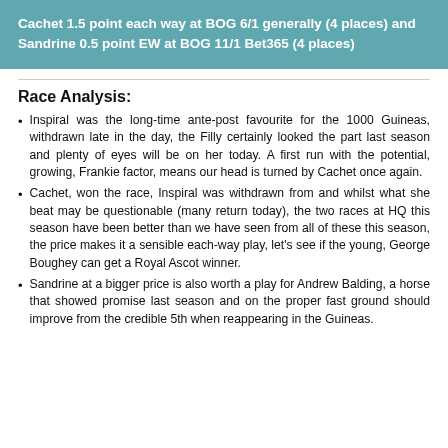Cachet 1.5 point each way at BOG 6/1 generally (4 places) and Sandrine 0.5 point EW at BOG 11/1 Bet365 (4 places)
Race Analysis:
Inspiral was the long-time ante-post favourite for the 1000 Guineas, withdrawn late in the day, the Filly certainly looked the part last season and plenty of eyes will be on her today. A first run with the potential, growing, Frankie factor, means our head is turned by Cachet once again.
Cachet, won the race, Inspiral was withdrawn from and whilst what she beat may be questionable (many return today), the two races at HQ this season have been better than we have seen from all of these this season, the price makes it a sensible each-way play, let's see if the young, George Boughey can get a Royal Ascot winner.
Sandrine at a bigger price is also worth a play for Andrew Balding, a horse that showed promise last season and on the proper fast ground should improve from the credible 5th when reappearing in the Guineas.